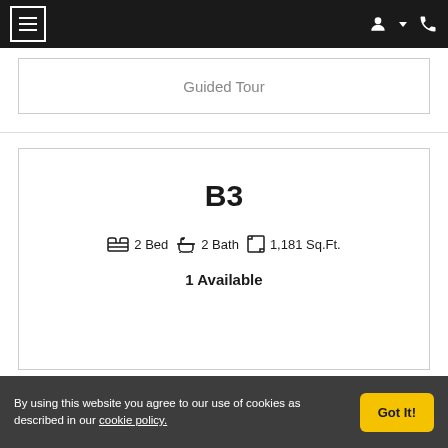Navigation bar with hamburger menu and icons
Guided Tour
B3
2 Bed  2 Bath  1,181 Sq.Ft.
1 Available
By using this website you agree to our use of cookies as described in our cookie policy.